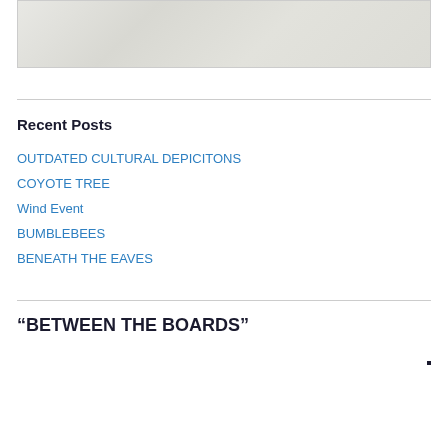[Figure (photo): A faded light gray textured image area at the top of the page]
Recent Posts
OUTDATED CULTURAL DEPICITONS
COYOTE TREE
Wind Event
BUMBLEBEES
BENEATH THE EAVES
“BETWEEN THE BOARDS”